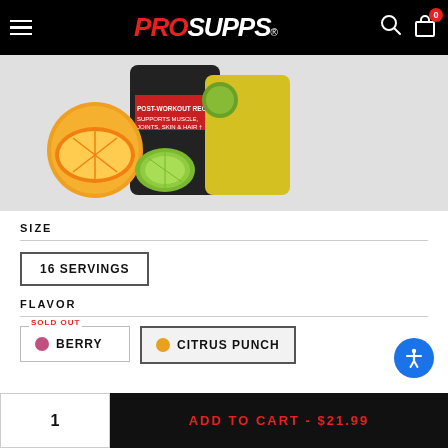PRO SUPPS navigation bar with hamburger menu, logo, search and cart icons
[Figure (photo): Product image showing supplement containers with orange and lime citrus fruits in front, on a light gray background]
SIZE
16 SERVINGS
FLAVOR
SOLD OUT - BERRY
CITRUS PUNCH
1
ADD TO CART - $21.99